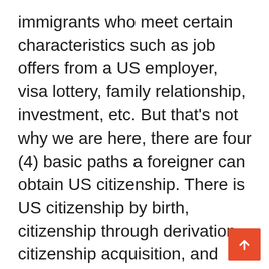immigrants who meet certain characteristics such as job offers from a US employer, visa lottery, family relationship, investment, etc. But that's not why we are here, there are four (4) basic paths a foreigner can obtain US citizenship. There is US citizenship by birth, citizenship through derivation, citizenship acquisition, and citizenship through neutralization.
[Figure (other): Orange/red scroll-to-top button with white upward arrow in bottom-right corner]